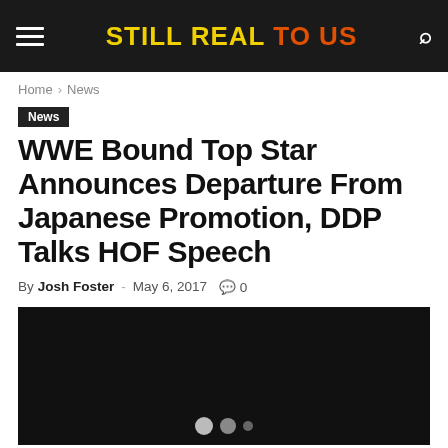STILL REAL TO US
Home › News
News
WWE Bound Top Star Announces Departure From Japanese Promotion, DDP Talks HOF Speech
By Josh Foster - May 6, 2017 💬 0
[Figure (photo): Black image area with dot navigation indicators at the bottom]